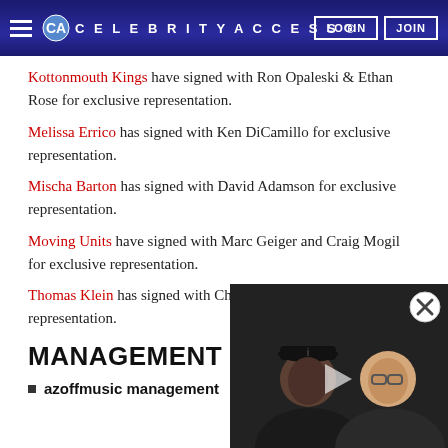CELEBRITYACCESS. LOGIN JOIN
Kottonmouth Kings have signed with Ron Opaleski & Ethan Rose for exclusive representation.
Melissa Errico has signed with Ken DiCamillo for exclusive representation.
Mischa Barton has signed with David Adamson for exclusive representation.
Moving Units have signed with Marc Geiger and Craig Mogil for exclusive representation.
Thomas Klein has signed with Chris Newman for exclusive representation.
MANAGEMENT SIG
azoffmusic management
[Figure (photo): Video overlay showing two people - a Black man wearing a baseball cap and a man wearing glasses, with a play button in the center and a close (X) button in the top right corner.]